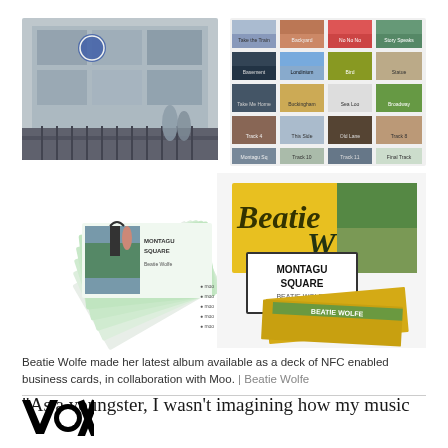[Figure (photo): Collage of four photos: top-left shows a building exterior with a blue circular plaque and iron railings; top-right shows a grid of small album/music cards with photos; bottom-left shows a fan of business cards branded with Montagu Square; bottom-right shows yellow and black packaging/boxes labeled 'Beatie W' and 'Montagu Square Beatie Wolfe']
Beatie Wolfe made her latest album available as a deck of NFC enabled business cards, in collaboration with Moo.  | Beatie Wolfe
“As a youngster, I wasn’t imagining how my music
[Figure (logo): Vox media logo in bold black text]